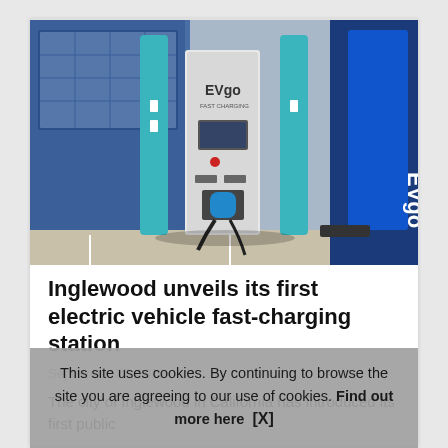[Figure (photo): EVgo fast charging station with teal/cyan poles and EVgo branding banner on right side, blue panels in background]
Inglewood unveils its first electric vehicle fast-charging station
September 27, 2019
The city of Inglewood in California has introduced its first public
This site uses cookies. By continuing to browse the site you are agreeing to our use of cookies. Find out more here   [X]